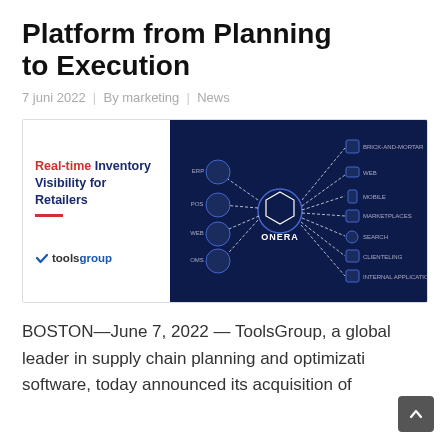Platform from Planning to Execution
7 juni 2022  |  By marketing  |  News
[Figure (infographic): Infographic showing Real-time Inventory Visibility for Retailers with ONERA platform diagram connecting ERP, POS, WEB, OMS on the left to BRICK-AND-MORTAR, WEB, MOBILE, MARKETPLACES, SEARCH, CLIENTELING, INTERNAL APPLICATIONS on the right. ToolsGroup logo in lower left corner.]
BOSTON—June 7, 2022 — ToolsGroup, a global leader in supply chain planning and optimization software, today announced its acquisition of